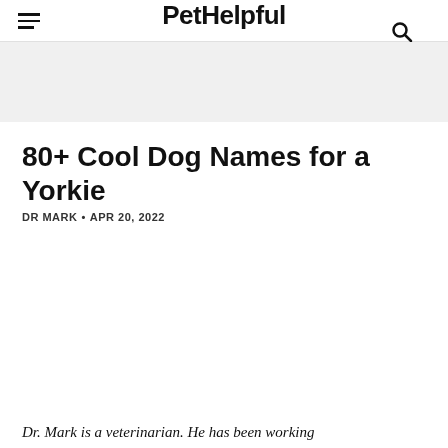PetHelpful
80+ Cool Dog Names for a Yorkie
DR MARK • APR 20, 2022
Dr. Mark is a veterinarian. He has been working